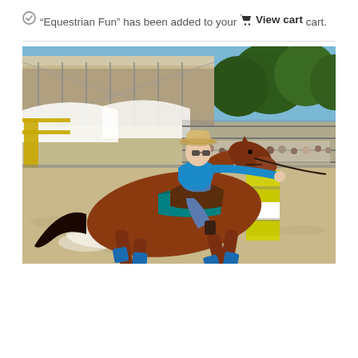⊙ “Equestrian Fun” has been added to your cart. 🛒 View cart
[Figure (photo): A rodeo barrel racing scene: a rider in a blue shirt and cowboy hat on a chestnut horse with blue leg wraps, navigating around a yellow and white barrel on a sandy arena. Grandstand structure and spectators visible in background with trees.]